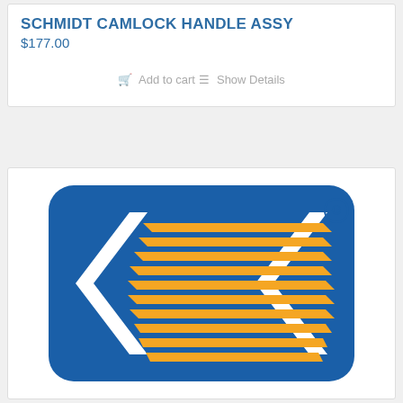SCHMIDT CAMLOCK HANDLE ASSY
$177.00
Add to cart
Show Details
[Figure (logo): Schmidt brand logo — blue rounded square with white double chevron arrows and orange diagonal parallel lines pattern; registered trademark symbol in upper right]